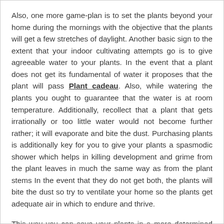Also, one more game-plan is to set the plants beyond your home during the mornings with the objective that the plants will get a few stretches of daylight. Another basic sign to the extent that your indoor cultivating attempts go is to give agreeable water to your plants. In the event that a plant does not get its fundamental of water it proposes that the plant will pass Plant cadeau. Also, while watering the plants you ought to guarantee that the water is at room temperature. Additionally, recollect that a plant that gets irrationally or too little water would not become further rather; it will evaporate and bite the dust. Purchasing plants is additionally key for you to give your plants a spasmodic shower which helps in killing development and grime from the plant leaves in much the same way as from the plant stems In the event that they do not get both, the plants will bite the dust so try to ventilate your home so the plants get adequate air in which to endure and thrive.
This way you can save your plants in a more determined way. Tuincentrum Brussel is in fact extremely simple to do,